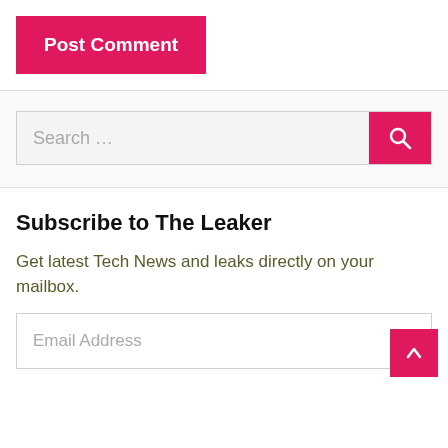[Figure (other): Pink 'Post Comment' button with white bold text]
[Figure (other): Search bar with text input placeholder 'Search ...' and pink search button with magnifying glass icon]
Subscribe to The Leaker
Get latest Tech News and leaks directly on your mailbox.
[Figure (other): Email Address input field placeholder]
[Figure (other): Pink back-to-top button with upward caret arrow]